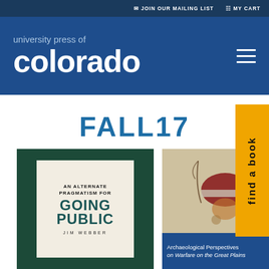JOIN OUR MAILING LIST   MY CART
university press of colorado
FALL17
[Figure (photo): Book cover: An Alternate Pragmatism for Going Public by Jim Webber, dark green background with inner cream-colored cover]
[Figure (photo): Book cover: Archaeological Perspectives on Warfare on the Great Plains, featuring cave art with red and ochre figures]